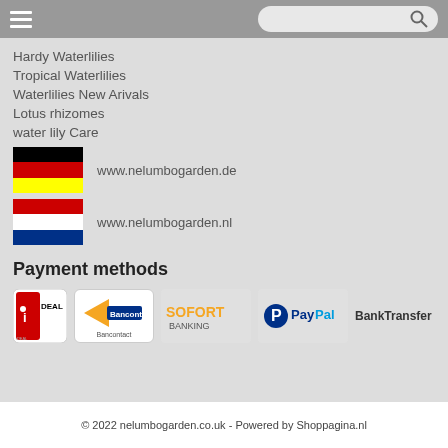[hamburger menu] [search bar]
Hardy Waterlilies
Tropical Waterlilies
Waterlilies New Arivals
Lotus rhizomes
water lily Care
[Figure (illustration): German flag (black, red, yellow horizontal stripes) with text www.nelumbogarden.de]
[Figure (illustration): Dutch flag (red, white, blue horizontal stripes) with text www.nelumbogarden.nl]
Payment methods
[Figure (logo): Payment method logos: iDEAL, Bancontact, SOFORT BANKING, PayPal, BankTransfer]
© 2022 nelumbogarden.co.uk - Powered by Shoppagina.nl